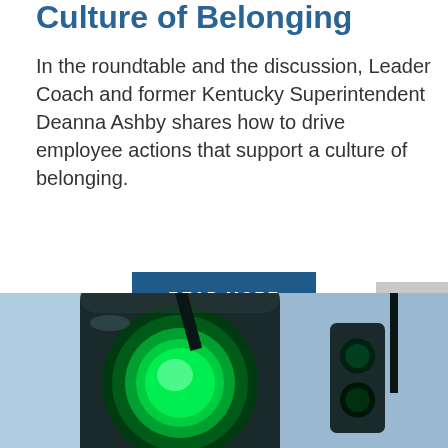Culture of Belonging
In the roundtable and the discussion, Leader Coach and former Kentucky Superintendent Deanna Ashby shares how to drive employee actions that support a culture of belonging.
READ MORE
[Figure (photo): Close-up photograph of a green traffic light against a blue sky, viewed from below at an angle.]